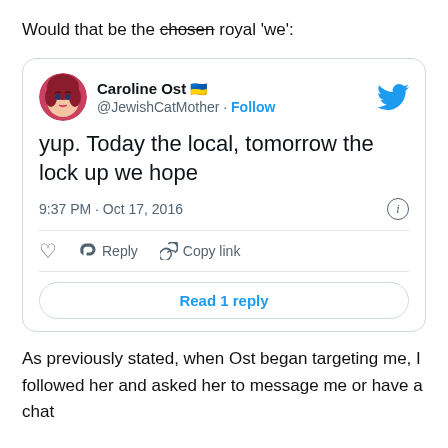Would that be the chosen royal 'we':
[Figure (screenshot): Embedded tweet from @JewishCatMother (Caroline Ost) reading: 'yup. Today the local, tomorrow the lock up we hope', posted at 9:37 PM · Oct 17, 2016, with options to like, reply, copy link, and Read 1 reply.]
As previously stated, when Ost began targeting me, I followed her and asked her to message me or have a chat